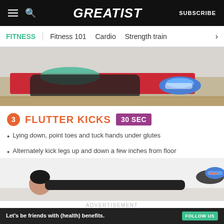GREATIST | FITNESS | Fitness 101 | Cardio | Strength train
[Figure (photo): Person in green shirt and black pants on a red exercise mat doing an exercise, wearing blue sneakers, on a wooden floor]
3 FLUTTER KICKS 30 SEC
Lying down, point toes and tuck hands under glutes
Alternately kick legs up and down a few inches from floor
[Figure (photo): Person lying on their back doing flutter kicks exercise, legs raised, wearing blue sneakers]
ADVERTISEMENT
[Figure (screenshot): Advertisement banner: Let's be friends with (health) benefits. Follow GREATIST on Instagram. FOLLOW US button.]